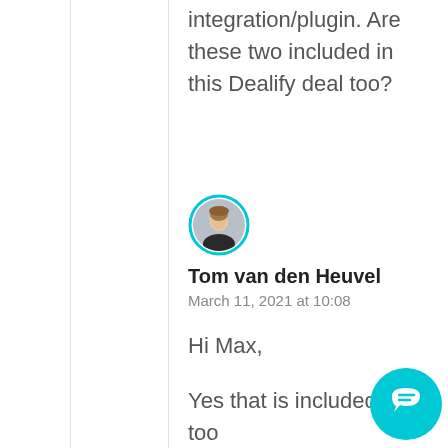integration/plugin. Are these two included in this Dealify deal too?
[Figure (photo): Circular avatar photo of Tom van den Heuvel with cyan/teal border]
Tom van den Heuvel
March 11, 2021 at 10:08
Hi Max,
Yes that is included too Hope that helps 🙂
[Figure (other): Cyan circular chat/support button in the bottom right corner with a speech bubble icon]